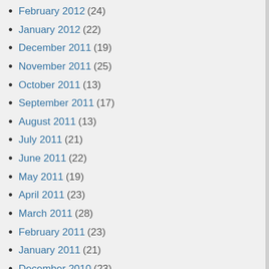February 2012 (24)
January 2012 (22)
December 2011 (19)
November 2011 (25)
October 2011 (13)
September 2011 (17)
August 2011 (13)
July 2011 (21)
June 2011 (22)
May 2011 (19)
April 2011 (23)
March 2011 (28)
February 2011 (23)
January 2011 (21)
December 2010 (23)
November 2010 (12)
October 2010 (17)
September 2010 (10)